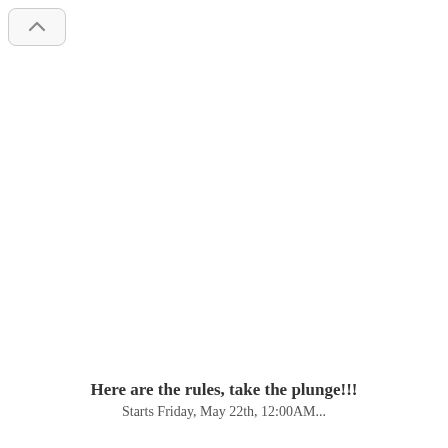[Figure (other): Navigation back button (chevron up icon) in the top-left corner]
Here are the rules, take the plunge!!!
Starts Friday, May 22th, 12:00AM...